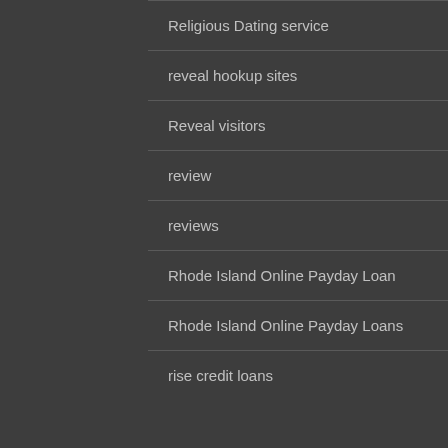Religious Dating service
reveal hookup sites
Reveal visitors
review
reviews
Rhode Island Online Payday Loan
Rhode Island Online Payday Loans
rise credit loans